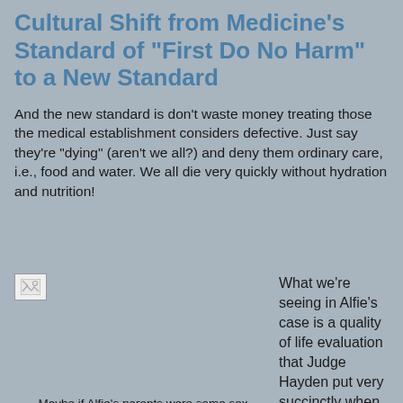Cultural Shift from Medicine's Standard of "First Do No Harm" to a New Standard
And the new standard is don't waste money treating those the medical establishment considers defective. Just say they're "dying" (aren't we all?) and deny them ordinary care, i.e., food and water. We all die very quickly without hydration and nutrition!
[Figure (photo): Broken image placeholder (small thumbnail with broken image icon)]
Maybe if Alfie's parents were same sex he would have been more sympathetic. Ya think?
What we're seeing in Alfie's case is a quality of life evaluation that Judge Hayden put very succinctly when he basically swept aside Alfie's humanity saying, "The brain cannot regenerate itself.